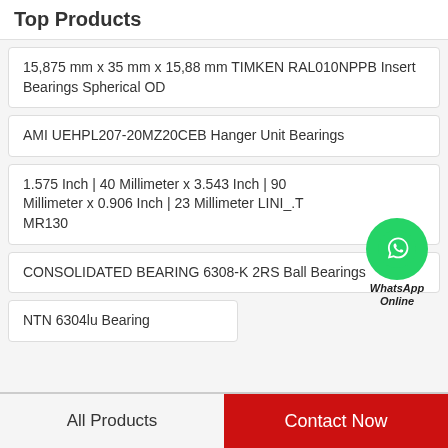Top Products
15,875 mm x 35 mm x 15,88 mm TIMKEN RAL010NPPB Insert Bearings Spherical OD
AMI UEHPL207-20MZ20CEB Hanger Unit Bearings
1.575 Inch | 40 Millimeter x 3.543 Inch | 90 Millimeter x 0.906 Inch | 23 Millimeter LINI_.T MR130
CONSOLIDATED BEARING 6308-K 2RS Ball Bearings
NTN 6304lu Bearing
All Products
Contact Now